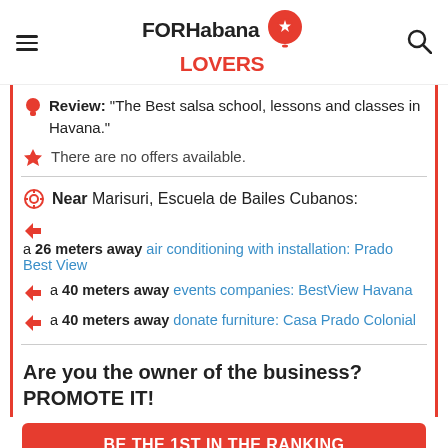FORHabana LOVERS
Review: "The Best salsa school, lessons and classes in Havana."
There are no offers available.
Near Marisuri, Escuela de Bailes Cubanos:
a 26 meters away air conditioning with installation: Prado Best View
a 40 meters away events companies: BestView Havana
a 40 meters away donate furniture: Casa Prado Colonial
Are you the owner of the business? PROMOTE IT!
BE THE 1ST IN THE RANKING